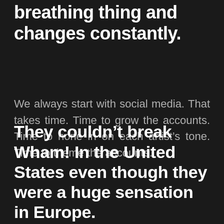breathing thing and changes constantly.
We always start with social media. That takes time. Time to grow the accounts. Time to hone in on each artist's tone. Time to theme the accounts.
They couldn't break Wham! In the United States even though they were a huge sensation in Europe.